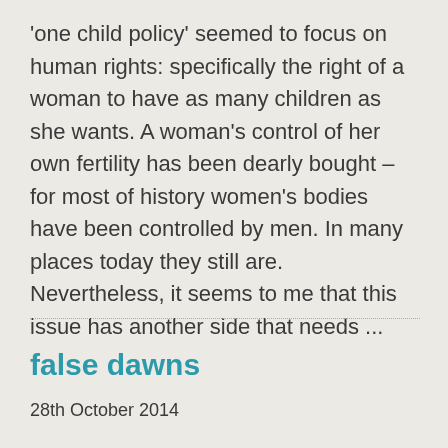'one child policy' seemed to focus on human rights: specifically the right of a woman to have as many children as she wants. A woman's control of her own fertility has been dearly bought – for most of history women's bodies have been controlled by men. In many places today they still are. Nevertheless, it seems to me that this issue has another side that needs ...
false dawns
28th October 2014